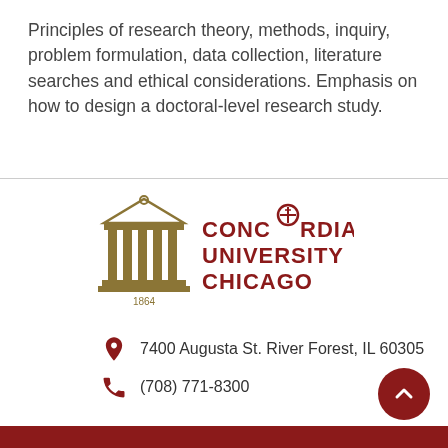Principles of research theory, methods, inquiry, problem formulation, data collection, literature searches and ethical considerations. Emphasis on how to design a doctoral-level research study.
[Figure (logo): Concordia University Chicago logo featuring a golden Greek temple/pillars icon on the left and the text 'CONCORDIA UNIVERSITY CHICAGO' in dark red/maroon on the right, with '1864' beneath the temple icon.]
7400 Augusta St. River Forest, IL 60305
(708) 771-8300